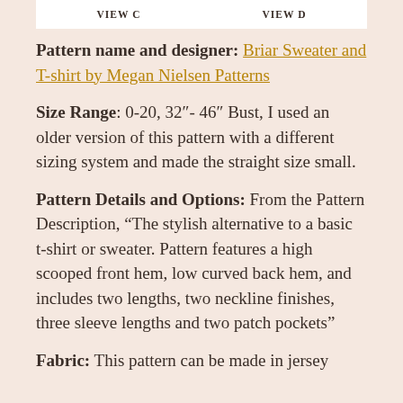VIEW C    VIEW D
Pattern name and designer: Briar Sweater and T-shirt by Megan Nielsen Patterns
Size Range: 0-20, 32”- 46” Bust, I used an older version of this pattern with a different sizing system and made the straight size small.
Pattern Details and Options: From the Pattern Description, “The stylish alternative to a basic t-shirt or sweater. Pattern features a high scooped front hem, low curved back hem, and includes two lengths, two neckline finishes, three sleeve lengths and two patch pockets”
Fabric: This pattern can be made in jersey